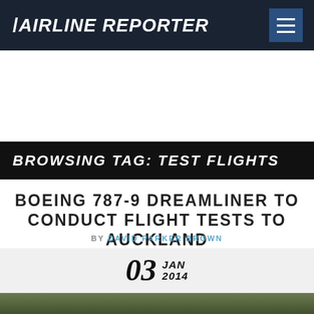AIRLINE REPORTER
BROWSING TAG: TEST FLIGHTS
BOEING 787-9 DREAMLINER TO CONDUCT FLIGHT TESTS TO AUCKLAND
BY DAVID PARKER BROWN
03 JAN 2014
[Figure (photo): Aerial photograph of airfield or runway area with green grass and tarmac]